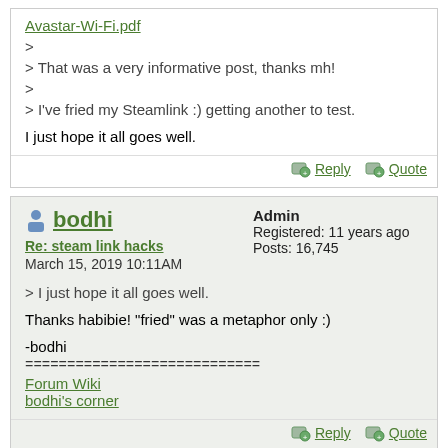Avastar-Wi-Fi.pdf
>
> That was a very informative post, thanks mh!
>
> I've fried my Steamlink :) getting another to test.

I just hope it all goes well.
Reply  Quote
bodhi
Re: steam link hacks
March 15, 2019 10:11AM
Admin
Registered: 11 years ago
Posts: 16,745
> I just hope it all goes well.

Thanks habibie! "fried" was a metaphor only :)

-bodhi
============================
Forum Wiki
bodhi's corner
Reply  Quote